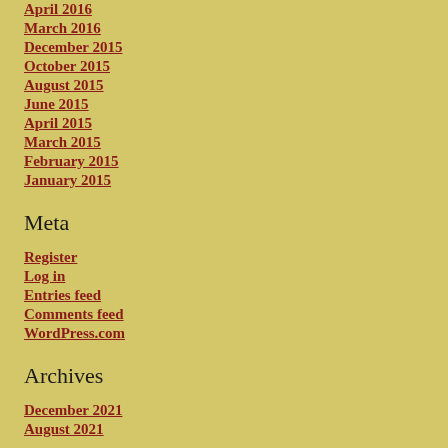April 2016
March 2016
December 2015
October 2015
August 2015
June 2015
April 2015
March 2015
February 2015
January 2015
Meta
Register
Log in
Entries feed
Comments feed
WordPress.com
Archives
December 2021
August 2021